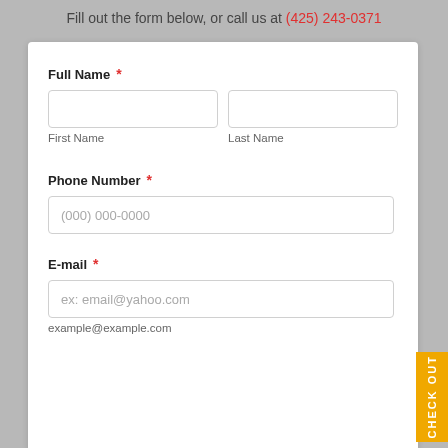Fill out the form below, or call us at (425) 243-0371
Full Name *
First Name
Last Name
Phone Number *
(000) 000-0000
E-mail *
ex: email@yahoo.com
example@example.com
CHECK OUT